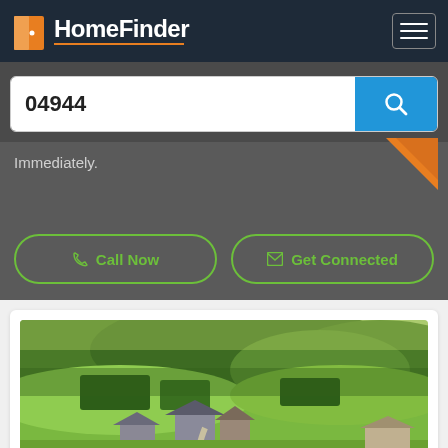[Figure (logo): HomeFinder logo with orange door icon and white text on dark navy header]
04944
Immediately.
Call Now
Get Connected
[Figure (photo): Aerial photo of a rural property with large house, surrounding green fields, trees and countryside landscape]